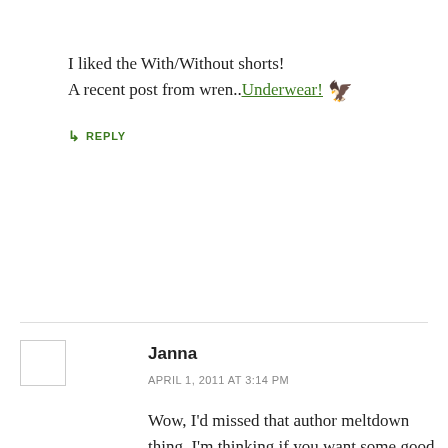I liked the With/Without shorts!
A recent post from wren..Underwear! [bird icon]
↳ REPLY
Janna
APRIL 1, 2011 AT 3:14 PM
Wow, I'd missed that author meltdown thing. I'm thinking if you want some good publicity for your blog it's the best thing that can happen to you, lol!

Aw, Undercover Sins. Trainwreck, huh? That's bad.

FUAutocorrect is one of my favorite sites. Always good for some chuckles. Unfortunately my iPhone never makes my messages that funny, but that's probably because I mostly text in Dutch.